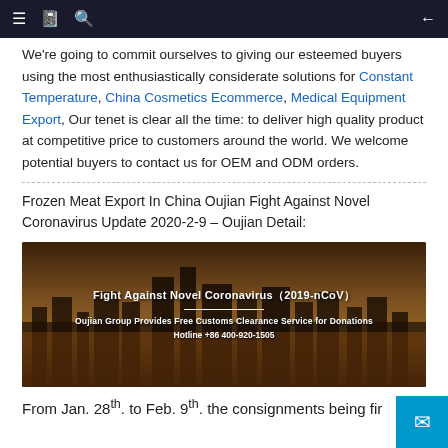Navigation bar with menu, bookmark, search, and back icons
We're going to commit ourselves to giving our esteemed buyers using the most enthusiastically considerate solutions for Constant Temperature, China Cosmetics Ecommerce, Medical Equipment Export, Our tenet is clear all the time: to deliver high quality product at competitive price to customers around the world. We welcome potential buyers to contact us for OEM and ODM orders.
Frozen Meat Export In China Oujian Fight Against Novel Coronavirus Update 2020-2-9 – Oujian Detail:
[Figure (photo): Banner image of city skyline at dusk with text overlay: 'Fight Against Novel Coronavirus (2019-nCoV)', 'Oujian Group Provides Free Customs Clearance Service for Donations', 'Hotline +86 400-920-1505']
From Jan. 28th. to Feb. 9th. the consignments being fir